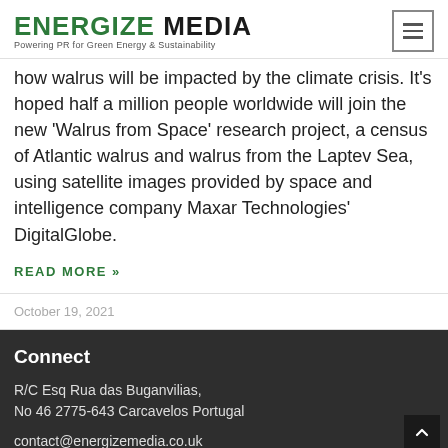ENERGIZE MEDIA — Powering PR for Green Energy & Sustainability
how walrus will be impacted by the climate crisis. It's hoped half a million people worldwide will join the new 'Walrus from Space' research project, a census of Atlantic walrus and walrus from the Laptev Sea, using satellite images provided by space and intelligence company Maxar Technologies' DigitalGlobe.
READ MORE »
October 19, 2021
Connect
R/C Esq Rua das Buganvilias,
No 46 2775-643 Carcavelos Portugal
contact@energizemedia.co.uk